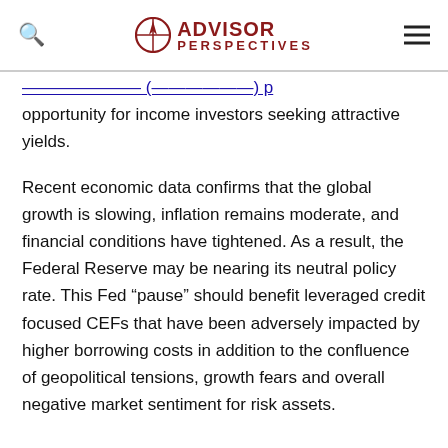Advisor Perspectives
(partial link text) opportunity for income investors seeking attractive yields.
Recent economic data confirms that the global growth is slowing, inflation remains moderate, and financial conditions have tightened. As a result, the Federal Reserve may be nearing its neutral policy rate. This Fed “pause” should benefit leveraged credit focused CEFs that have been adversely impacted by higher borrowing costs in addition to the confluence of geopolitical tensions, growth fears and overall negative market sentiment for risk assets.